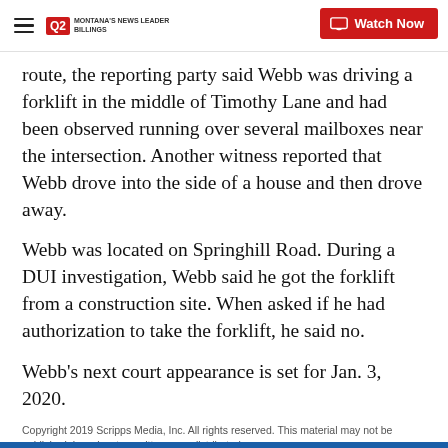Q2 Montana's News Leader | Watch Now
route, the reporting party said Webb was driving a forklift in the middle of Timothy Lane and had been observed running over several mailboxes near the intersection. Another witness reported that Webb drove into the side of a house and then drove away.
Webb was located on Springhill Road. During a DUI investigation, Webb said he got the forklift from a construction site. When asked if he had authorization to take the forklift, he said no.
Webb's next court appearance is set for Jan. 3, 2020.
Copyright 2019 Scripps Media, Inc. All rights reserved. This material may not be published, broadcast, rewritten, or redistributed.